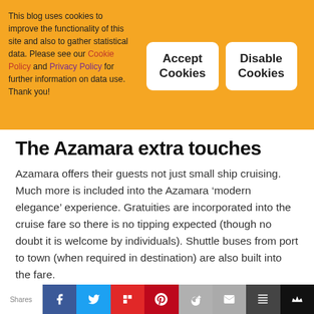This blog uses cookies to improve the functionality of this site and also to gather statistical data. Please see our Cookie Policy and Privacy Policy for further information on data use. Thank you!
Accept Cookies
Disable Cookies
The Azamara extra touches
Azamara offers their guests not just small ship cruising. Much more is included into the Azamara ‘modern elegance’ experience. Gratuities are incorporated into the cruise fare so there is no tipping expected (though no doubt it is welcome by individuals). Shuttle buses from port to town (when required in destination) are also built into the fare.
All bottled water, soft drinks, specialty teas and
Shares [social share bar: Facebook, Twitter, Flipboard, Pinterest, Google+, Email, StackShare, Crown]